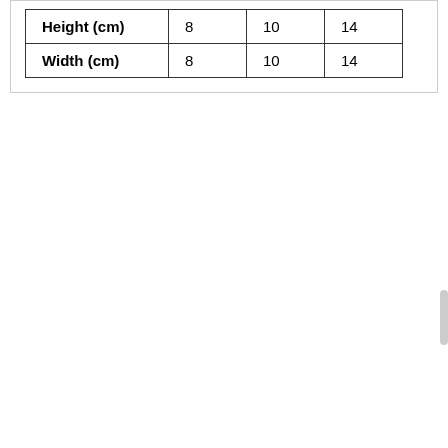| Height (cm) | 8 | 10 | 14 |
| Width (cm) | 8 | 10 | 14 |